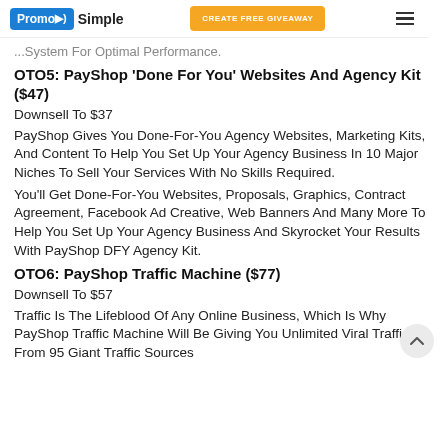PromoSimple | CREATE FREE GIVEAWAY
...System For Optimal Performance.
OTO5: PayShop 'Done For You' Websites And Agency Kit ($47)
Downsell To $37
PayShop Gives You Done-For-You Agency Websites, Marketing Kits, And Content To Help You Set Up Your Agency Business In 10 Major Niches To Sell Your Services With No Skills Required.
You'll Get Done-For-You Websites, Proposals, Graphics, Contract Agreement, Facebook Ad Creative, Web Banners And Many More To Help You Set Up Your Agency Business And Skyrocket Your Results With PayShop DFY Agency Kit.
OTO6: PayShop Traffic Machine ($77)
Downsell To $57
Traffic Is The Lifeblood Of Any Online Business, Which Is Why PayShop Traffic Machine Will Be Giving You Unlimited Viral Traffic From 95 Giant Traffic Sources